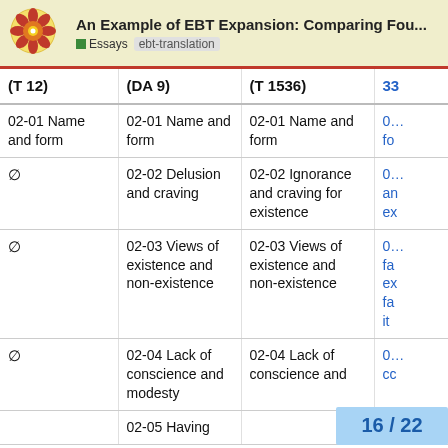An Example of EBT Expansion: Comparing Fou... | Essays | ebt-translation
| (T 12) | (DA 9) | (T 1536) | 33… |
| --- | --- | --- | --- |
| 02-01 Name and form | 02-01 Name and form | 02-01 Name and form | 0… fo |
| ∅ | 02-02 Delusion and craving | 02-02 Ignorance and craving for existence | 0… an… ex |
| ∅ | 02-03 Views of existence and non-existence | 02-03 Views of existence and non-existence | 0… fa… ex… fa… it |
| ∅ | 02-04 Lack of conscience and modesty | 02-04 Lack of conscience and | 0… cc |
|  | 02-05 Having |  |  |
16 / 22